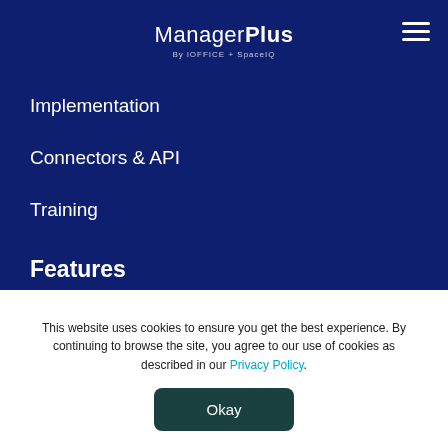ManagerPlus By iOFFICE + SpaceIQ
Implementation
Connectors & API
Training
Features
Work Order Management
Preventive Maintenance
This website uses cookies to ensure you get the best experience. By continuing to browse the site, you agree to our use of cookies as described in our Privacy Policy.